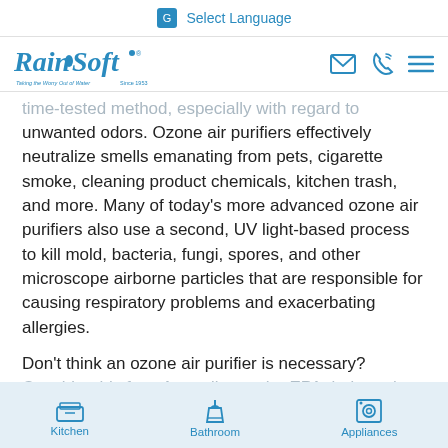Select Language
[Figure (logo): RainSoft logo — blue cursive text with tagline 'Taking the Worry Out of Water Since 1953']
time-tested method, especially with regard to unwanted odors. Ozone air purifiers effectively neutralize smells emanating from pets, cigarette smoke, cleaning product chemicals, kitchen trash, and more. Many of today's more advanced ozone air purifiers also use a second, UV light-based process to kill mold, bacteria, fungi, spores, and other microscope airborne particles that are responsible for causing respiratory problems and exacerbating allergies.
Don't think an ozone air purifier is necessary? Consider this fact: According to the EPA, indoor air can be up to 40 times dirtier than the air outside.
Kitchen   Bathroom   Appliances